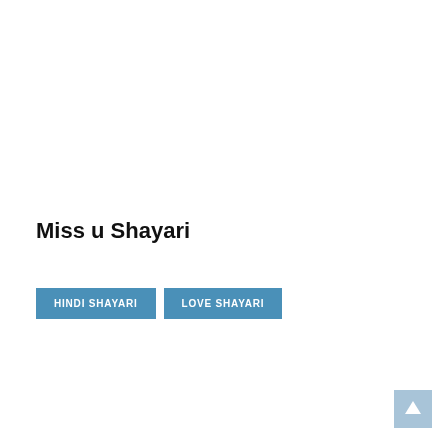Miss u Shayari
HINDI SHAYARI | LOVE SHAYARI
[Figure (other): Scroll-to-top button arrow icon in light blue square at bottom right]